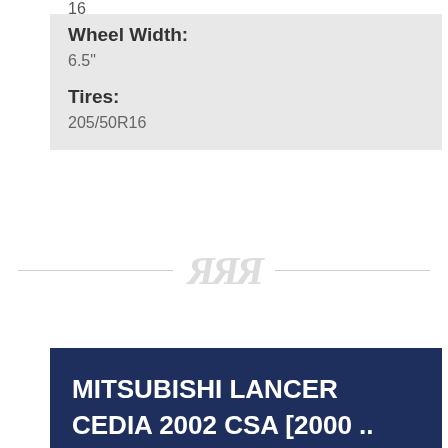16
Wheel Width:
6.5"
Tires:
205/50R16
[Figure (illustration): Decorative divider with stylized italic characters and horizontal lines]
MITSUBISHI LANCER CEDIA 2002 CSA [2000 ..